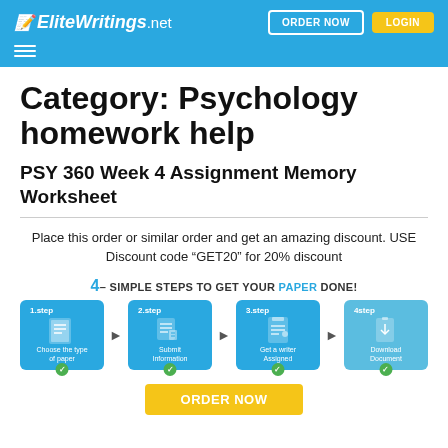EliteWritings.net | ORDER NOW | LOGIN
Category: Psychology homework help
PSY 360 Week 4 Assignment Memory Worksheet
Place this order or similar order and get an amazing discount. USE Discount code “GET20” for 20% discount
[Figure (infographic): 4-SIMPLE STEPS TO GET YOUR PAPER DONE! infographic showing 4 steps: 1.step Choose the type of paper, 2.step Submit Information, 3.step Get a writer Assigned, 4step Download Document, each with a checkmark icon]
ORDER NOW